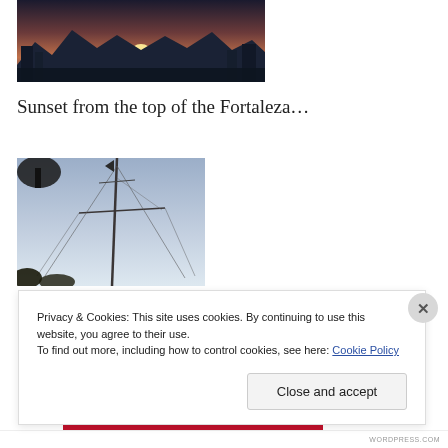[Figure (photo): Sunset cityscape photo with mountains in the background and a glowing sun on the horizon]
Sunset from the top of the Fortaleza…
[Figure (photo): Photo of a tall ship or sailboat mast with rigging lines against a pale sky]
Privacy & Cookies: This site uses cookies. By continuing to use this website, you agree to their use.
To find out more, including how to control cookies, see here: Cookie Policy
Close and accept